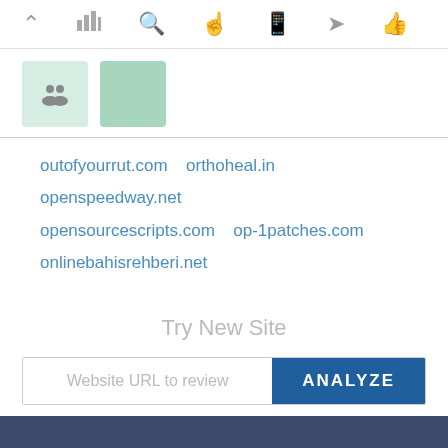[Figure (screenshot): Navigation toolbar with icons: chevron up, bar chart, search, hand/cursor, mobile phone, send/arrow, thumbs up]
[Figure (screenshot): Two square icon buttons with light green backgrounds - left has a group/people icon, right is slightly darker green]
outofyourrut.com  orthoheal.in  openspeedway.net  opensourcescripts.com  op-1patches.com  onlinebahisrehberi.net
Try New Site
Website URL to review
ANALYZE